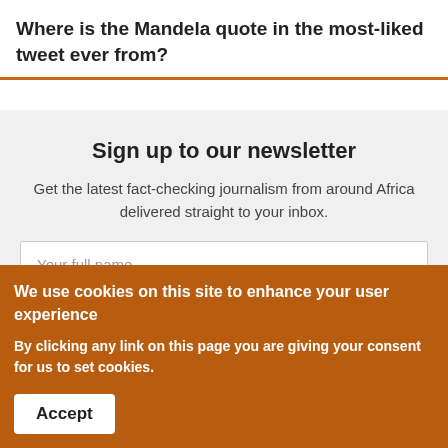Where is the Mandela quote in the most-liked tweet ever from?
Sign up to our newsletter
Get the latest fact-checking journalism from around Africa delivered straight to your inbox.
Your full name
We use cookies on this site to enhance your user experience
By clicking any link on this page you are giving your consent for us to set cookies.
Accept